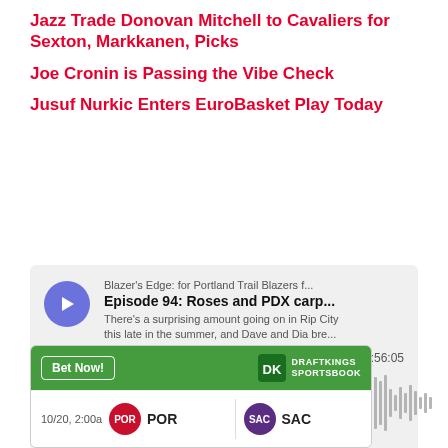Jazz Trade Donovan Mitchell to Cavaliers for Sexton, Markkanen, Picks
Joe Cronin is Passing the Vibe Check
Jusuf Nurkic Enters EuroBasket Play Today
[Figure (other): Megaphone podcast player embed showing Blazer's Edge Episode 94: Roses and PDX carp... with waveform audio visualization, duration 00:56:05, and controls for SHARE, SUBSCRIBE, COOKIE POLICY]
[Figure (other): DraftKings Sportsbook betting widget showing Bet Now button and a game matchup POR vs SAC on 10/20, 2:00a]